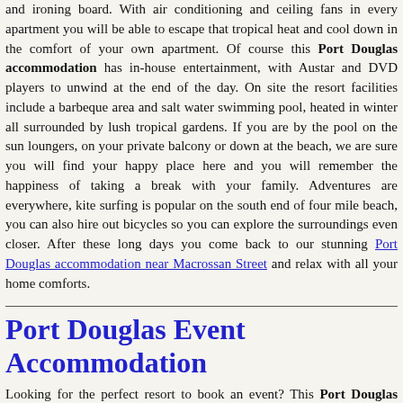and ironing board. With air conditioning and ceiling fans in every apartment you will be able to escape that tropical heat and cool down in the comfort of your own apartment. Of course this Port Douglas accommodation has in-house entertainment, with Austar and DVD players to unwind at the end of the day. On site the resort facilities include a barbeque area and salt water swimming pool, heated in winter all surrounded by lush tropical gardens. If you are by the pool on the sun loungers, on your private balcony or down at the beach, we are sure you will find your happy place here and you will remember the happiness of taking a break with your family. Adventures are everywhere, kite surfing is popular on the south end of four mile beach, you can also hire out bicycles so you can explore the surroundings even closer. After these long days you come back to our stunning Port Douglas accommodation near Macrossan Street and relax with all your home comforts.
Port Douglas Event Accommodation
Looking for the perfect resort to book an event? This Port Douglas event accommodation is where you need to be.